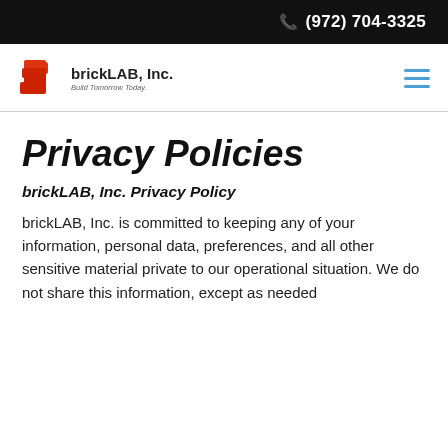(972) 704-3325
[Figure (logo): brickLAB, Inc. logo with red brick graphic and tagline 'Build Tomorrow Today']
Privacy Policies
brickLAB, Inc. Privacy Policy
brickLAB, Inc. is committed to keeping any of your information, personal data, preferences, and all other sensitive material private to our operational situation. We do not share this information, except as needed